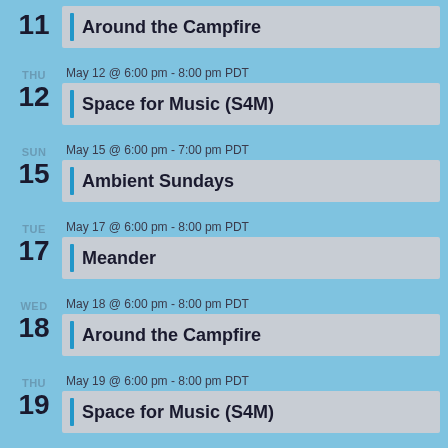11 | Around the Campfire
THU 12 | May 12 @ 6:00 pm - 8:00 pm PDT | Space for Music (S4M)
SUN 15 | May 15 @ 6:00 pm - 7:00 pm PDT | Ambient Sundays
TUE 17 | May 17 @ 6:00 pm - 8:00 pm PDT | Meander
WED 18 | May 18 @ 6:00 pm - 8:00 pm PDT | Around the Campfire
THU 19 | May 19 @ 6:00 pm - 8:00 pm PDT | Space for Music (S4M)